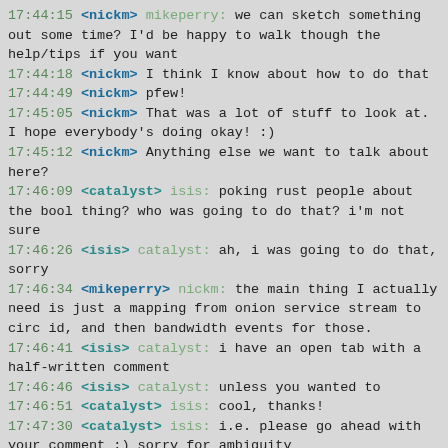17:44:15 <nickm> mikeperry: we can sketch something out some time? I'd be happy to walk though the help/tips if you want
17:44:18 <nickm> I think I know about how to do that
17:44:49 <nickm> pfew!
17:45:05 <nickm> That was a lot of stuff to look at. I hope everybody's doing okay! :)
17:45:12 <nickm> Anything else we want to talk about here?
17:46:09 <catalyst> isis: poking rust people about the bool thing? who was going to do that? i'm not sure
17:46:26 <isis> catalyst: ah, i was going to do that, sorry
17:46:34 <mikeperry> nickm: the main thing I actually need is just a mapping from onion service stream to circ id, and then bandwidth events for those.
17:46:41 <isis> catalyst: i have an open tab with a half-written comment
17:46:46 <isis> catalyst: unless you wanted to
17:46:51 <catalyst> isis: cool, thanks!
17:47:30 <catalyst> isis: i.e. please go ahead with your comment :) sorry for ambiguity
17:47:57 <nickm> okay. Hearing no new topics come up, I'm going to call the meeting done!
17:47:59 <nickm> Thanks, everybody!
17:48:27 <ahf> o/
17:51:31 <dgoulet> nickm: might want to #endmeeting before your forget :)
17:52:05 <nickm> #endmeeting